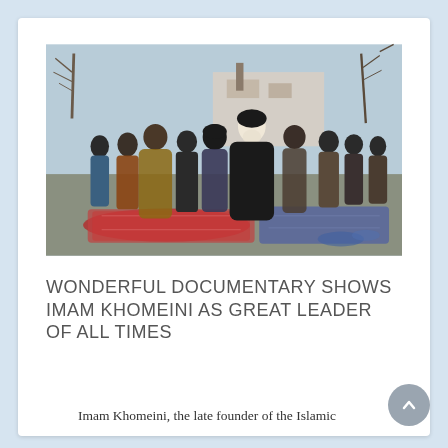[Figure (photo): A historical photograph showing Imam Khomeini leading a group of men in outdoor prayer, standing on prayer rugs. Bare trees and a building are visible in the background.]
WONDERFUL DOCUMENTARY SHOWS IMAM KHOMEINI AS GREAT LEADER OF ALL TIMES
Imam Khomeini, the late founder of the Islamic